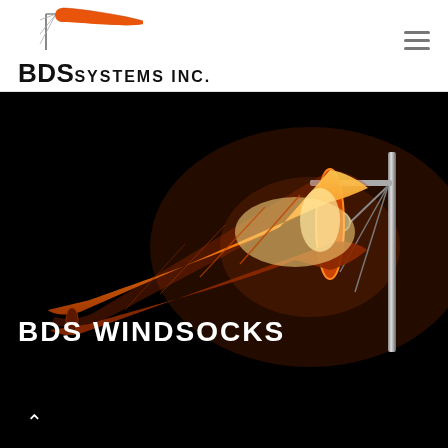[Figure (logo): BDS Systems Inc. logo with orange windsock image and bold text 'BDS SYSTEMS INC.']
[Figure (photo): Night photograph of an illuminated orange windsock on a metal pole against a black background]
BDS WINDSOCKS